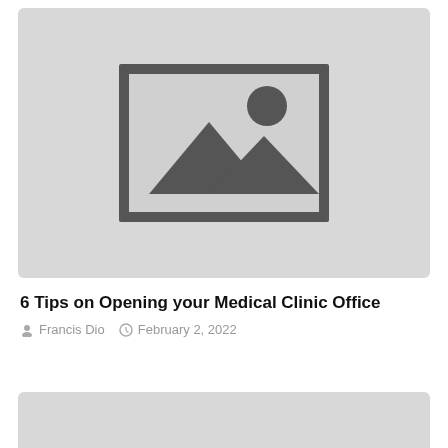[Figure (photo): Placeholder image with mountain and sun graphic on light grey background]
6 Tips on Opening your Medical Clinic Office
Francis Dio   February 2, 2022
[Figure (photo): Second placeholder image, partially visible at bottom of page]